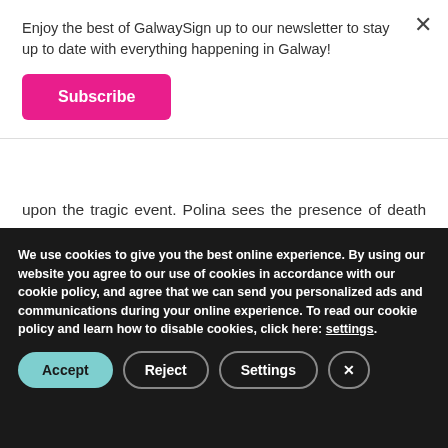Enjoy the best of GalwaySign up to our newsletter to stay up to date with everything happening in Galway!
Subscribe
upon the tragic event. Polina sees the presence of death in the world around her and tries to comprehend the inevitability of it. Serhiy spends a lot of time in intimate conversations with Polina, which lets him focus on important
We use cookies to give you the best online experience. By using our website you agree to our use of cookies in accordance with our cookie policy, and agree that we can send you personalized ads and communications during your online experience. To read our cookie policy and learn how to disable cookies, click here: settings.
Accept
Reject
Settings